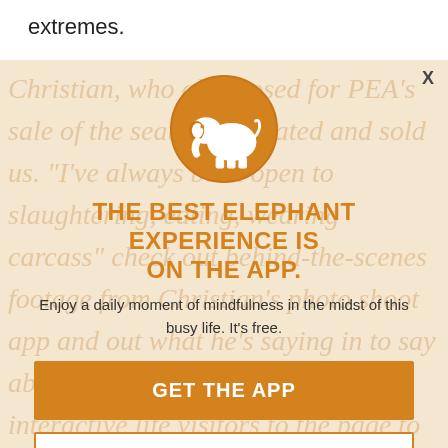extremes.
[Figure (illustration): Modal popup overlay on a background article page. Background shows faded orange italic article text. Modal contains an orange circle with a white elephant silhouette, a headline, subtext, and two buttons.]
THE BEST ELEPHANT EXPERIENCE IS ON THE APP.
Enjoy a daily moment of mindfulness in the midst of this busy life. It's free.
GET THE APP
OPEN IN APP